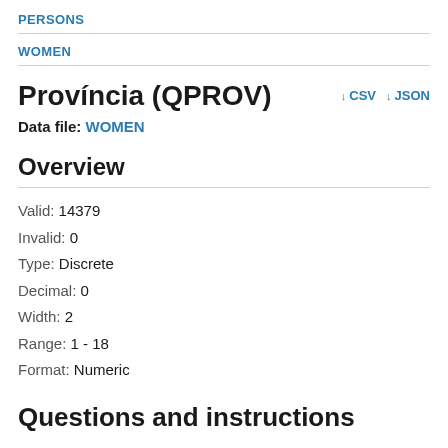PERSONS
WOMEN
Província (QPROV)
Data file: WOMEN
Overview
Valid: 14379
Invalid: 0
Type: Discrete
Decimal: 0
Width: 2
Range: 1 - 18
Format: Numeric
Questions and instructions